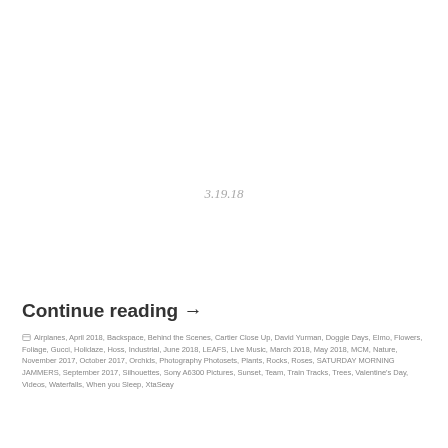3.19.18
Continue reading →
Airplanes, April 2018, Backspace, Behind the Scenes, Cartier Close Up, David Yurman, Doggie Days, Elmo, Flowers, Foliage, Gucci, Holidaze, Hoss, Industrial, June 2018, LEAFS, Live Music, March 2018, May 2018, MCM, Nature, November 2017, October 2017, Orchids, Photography Photosets, Plants, Rocks, Roses, SATURDAY MORNING JAMMERS, September 2017, Silhouettes, Sony A6300 Pictures, Sunset, Team, Train Tracks, Trees, Valentine's Day, Videos, Waterfalls, When you Sleep, XtaSeay